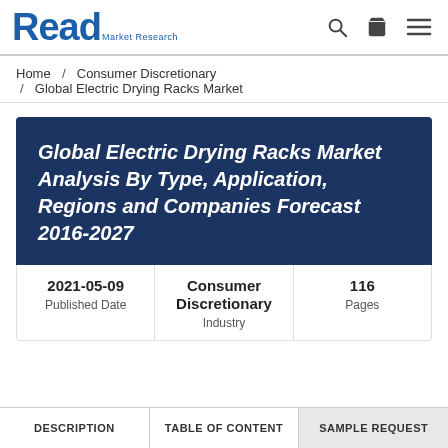Read Market Research
Home / Consumer Discretionary / Global Electric Drying Racks Market
Global Electric Drying Racks Market Analysis By Type, Application, Regions and Companies Forecast 2016-2027
| Published Date | Industry | Pages |
| --- | --- | --- |
| 2021-05-09 | Consumer Discretionary | 116 |
DESCRIPTION | TABLE OF CONTENT | SAMPLE REQUEST